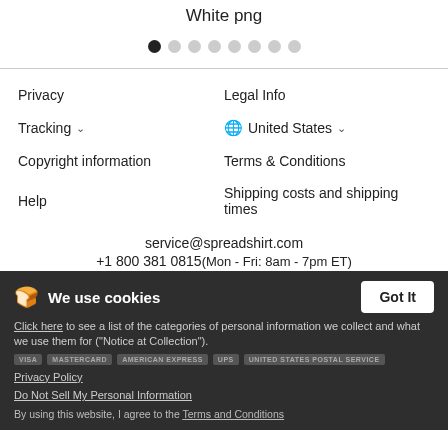White png
[Figure (other): Carousel pagination dots, first dot active]
Privacy
Legal Info
Tracking ∨
🌐 United States ∨
Copyright information
Terms & Conditions
Help
Shipping costs and shipping times
service@spreadshirt.com
+1 800 381 0815 (Mon - Fri: 8am - 7pm ET)
We use cookies
Got It
Click here to see a list of the categories of personal information we collect and what we use them for ("Notice at Collection").
Privacy Policy
Do Not Sell My Personal Information
By using this website, I agree to the Terms and Conditions